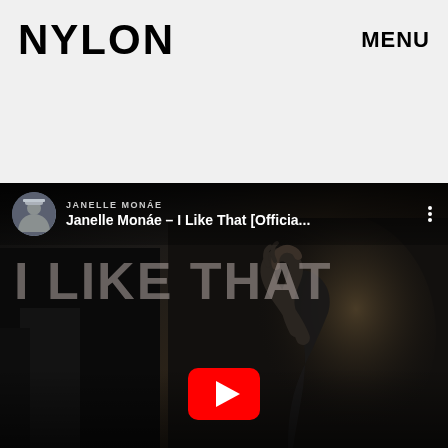NYLON   MENU
[Figure (screenshot): YouTube video embed showing Janelle Monáe – I Like That [Officia... with YouTube play button overlay. Dark cinematic video thumbnail with 'I LIKE THAT' text overlaid. Channel name 'JANELLE MONÁE' shown above video title. Three-dot menu icon at top right of player.]